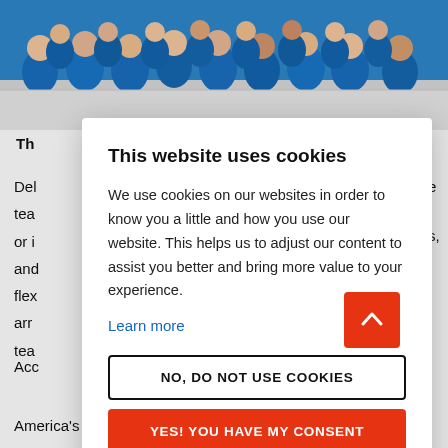[Figure (photo): Group of people wearing blue Dell Technologies shirts, photographed from above/front in a building lobby]
Th
Del
tea
or i
and
flex
arr
tea
This website uses cookies
We use cookies on our websites in order to know you a little and how you use our website. This helps us to adjust our content to assist you better and bring more value to your experience.
Learn more
NO, DO NOT USE COOKIES
YES! YOU HAVE MY CONSENT
Acc
America's HR Operations at Dell Technologies, a